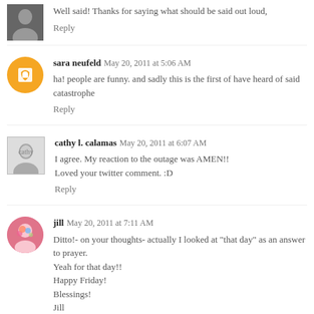Well said! Thanks for saying what should be said out loud,
Reply
sara neufeld  May 20, 2011 at 5:06 AM
ha! people are funny. and sadly this is the first of have heard of said catastrophe
Reply
cathy l. calamas  May 20, 2011 at 6:07 AM
I agree. My reaction to the outage was AMEN!!
Loved your twitter comment. :D
Reply
jill  May 20, 2011 at 7:11 AM
Ditto!- on your thoughts- actually I looked at "that day" as an answer to prayer.
Yeah for that day!!
Happy Friday!
Blessings!
Jill